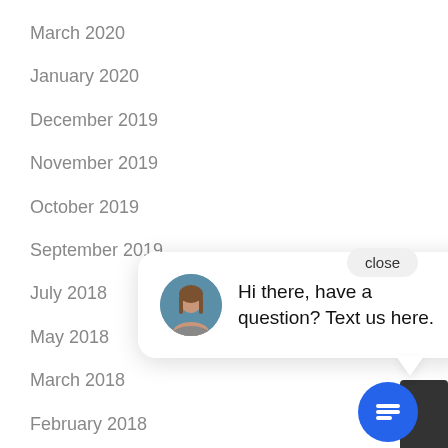March 2020
January 2020
December 2019
November 2019
October 2019
September 2019
July 2018
May 2018
March 2018
February 2018
January 2018
December 2017
[Figure (screenshot): Chat widget popup with avatar of a woman, text 'Hi there, have a question? Text us here.', a close button, and a blue chat icon button at bottom right.]